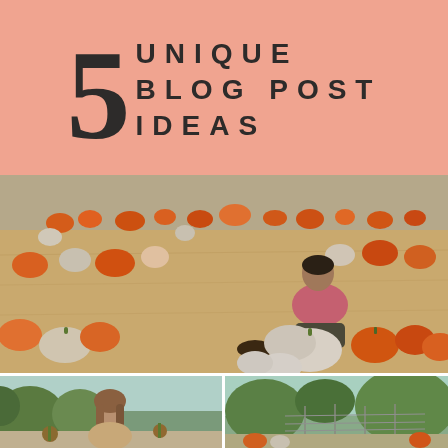5 UNIQUE BLOG POST IDEAS
[Figure (photo): Woman sitting in a pumpkin patch surrounded by orange and white pumpkins on hay, wearing a pink sweater and dark skirt]
[Figure (photo): Woman outdoors with plants in background, bottom left panel]
[Figure (photo): Outdoor scene with trees and structures, bottom right panel]